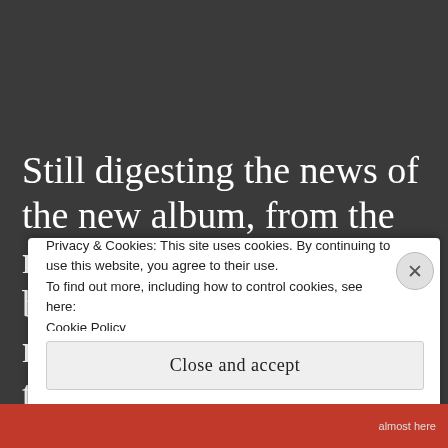Still digesting the news of the new album, from the man who single-handedly brought the art form of rap music back from the dead, the world is still trying to figure out
Privacy & Cookies: This site uses cookies. By continuing to use this website, you agree to their use.
To find out more, including how to control cookies, see here: Cookie Policy
Close and accept